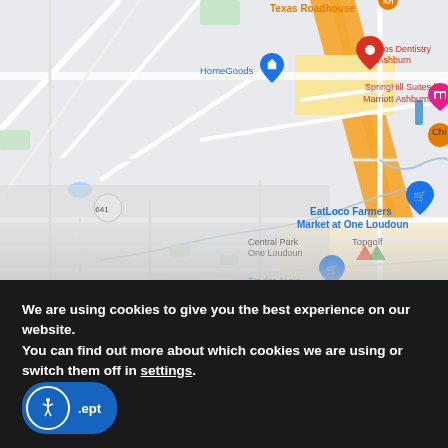[Figure (map): Google Maps screenshot showing Ashburn, Virginia area with landmarks including Texas Roadhouse, HomeGoods, Rios Dentistry of Ashburn, SpringHill Suites by Marriott Ashburn, EatLoco Farmers Market at One Loudoun, Central Park One Loudoun, Topgolf, Trader Joe's, and Loudoun Smile Center. Route 641 visible. Map shows roads, retail areas with orange/yellow highlights.]
We are using cookies to give you the best experience on our website.
You can find out more about which cookies we are using or switch them off in settings.